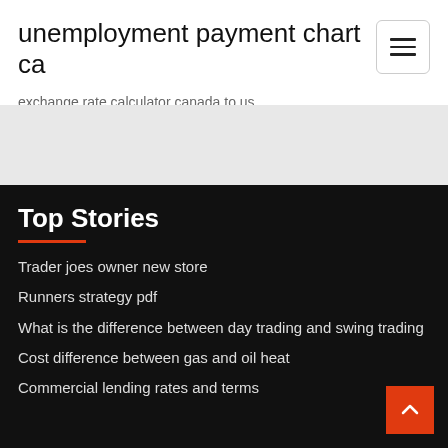unemployment payment chart ca
exchange rate calculator canada to us
Top Stories
Trader joes owner new store
Runners strategy pdf
What is the difference between day trading and swing trading
Cost difference between gas and oil heat
Commercial lending rates and terms